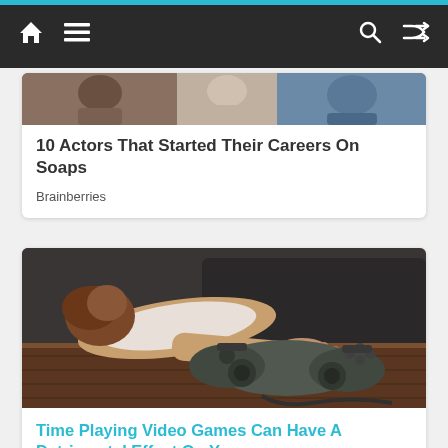Navigation bar with home, menu, search, and shuffle icons
[Figure (photo): Partial photo of actors from soap operas, cropped at top of card]
10 Actors That Started Their Careers On Soaps
Brainberries
[Figure (photo): Child lying on floor exhausted while holding a video game controller on a wooden surface]
Time Playing Video Games Can Have A Detrimental Effect On You